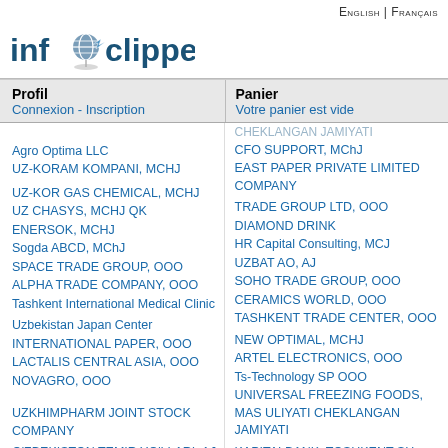English | Français
[Figure (logo): Info Clipper logo with globe icon and compass arrow]
| Profil | Panier |
| --- | --- |
| Connexion - Inscription | Votre panier est vide |
CHEKLANGAN JAMIYATI
CFO SUPPORT, MChJ
Agro Optima LLC
EAST PAPER PRIVATE LIMITED COMPANY
UZ-KORAM KOMPANI, MCHJ
TRADE GROUP LTD, OOO
UZ-KOR GAS CHEMICAL, MCHJ
DIAMOND DRINK
UZ CHASYS, MCHJ QK
HR Capital Consulting, MCJ
ENERSOK, MCHJ
UZBAT AO, AJ
Sogda ABCD, MChJ
SOHO TRADE GROUP, OOO
SPACE TRADE GROUP, OOO
CERAMICS WORLD, OOO
ALPHA TRADE COMPANY, OOO
TASHKENT TRADE CENTER, OOO
Tashkent International Medical Clinic
NEW OPTIMAL, MCHJ
Uzbekistan Japan Center
ARTEL ELECTRONICS, OOO
INTERNATIONAL PAPER, OOO
Ts-Technology SP OOO
LACTALIS CENTRAL ASIA, OOO
UNIVERSAL FREEZING FOODS, MAS ULIYATI CHEKLANGAN JAMIYATI
NOVAGRO, OOO
KAPITALBANK, TOSHKENT SH
UZKHIMPHARM JOINT STOCK COMPANY
AGATA IMPEX LTD
O'ZBEKISTON TEMIR YO'LLARI, AJ